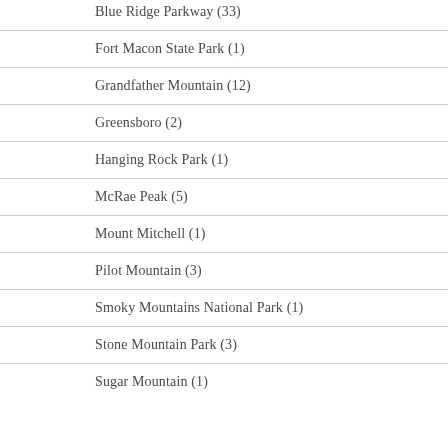Blue Ridge Parkway (33)
Fort Macon State Park (1)
Grandfather Mountain (12)
Greensboro (2)
Hanging Rock Park (1)
McRae Peak (5)
Mount Mitchell (1)
Pilot Mountain (3)
Smoky Mountains National Park (1)
Stone Mountain Park (3)
Sugar Mountain (1)